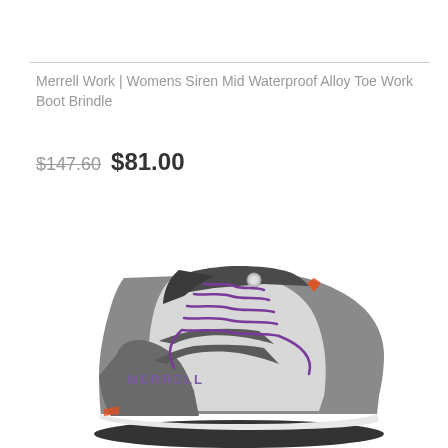Merrell Work | Womens Siren Mid Waterproof Alloy Toe Work Boot Brindle
$147.60 $81.00
[Figure (photo): A Merrell Work women's Siren Mid Waterproof Alloy Toe Work Boot in brindle/grey color with purple laces and white midsole, shown from a three-quarter angle on white background.]